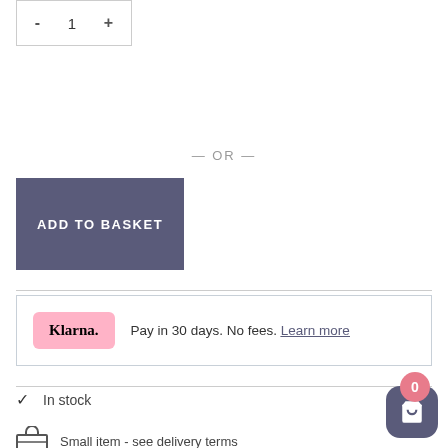[Figure (other): Quantity stepper control with minus, 1, and plus buttons inside a bordered box]
— OR —
ADD TO BASKET
Pay in 30 days. No fees. Learn more
✓  In stock
Small item - see delivery terms